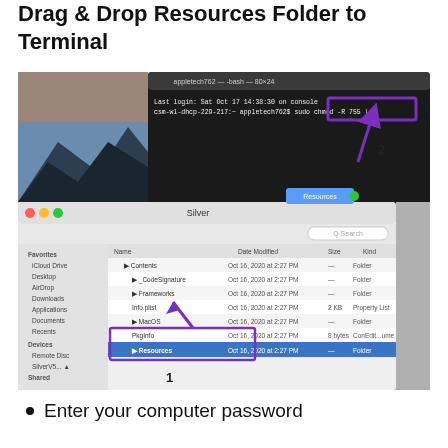Drag & Drop Resources Folder to Terminal
[Figure (screenshot): macOS screenshot showing Finder window with Resources folder selected and Terminal window in background. Purple arrows and numbered callouts (1, 2) indicate drag-and-drop action from Finder to Terminal. The Resources folder is highlighted in blue in Finder sidebar and a purple rectangle outlines a Terminal text input area.]
Enter your computer password